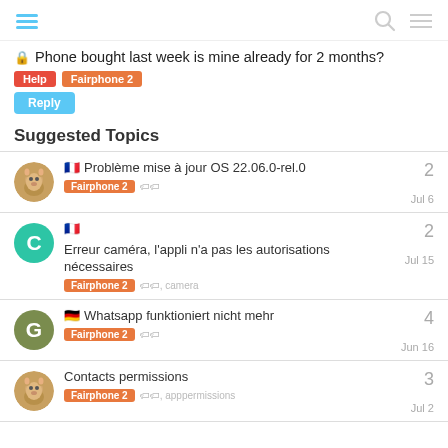Phone bought last week is mine already for 2 months? — Help, Fairphone 2
🔒 Phone bought last week is mine already for 2 months?
Suggested Topics
🇫🇷 Problème mise à jour OS 22.06.0-rel.0 | Fairphone 2 | 2 | Jul 6
🇫🇷 Erreur caméra, l'appli n'a pas les autorisations nécessaires | Fairphone 2, camera | 2 | Jul 15
🇩🇪 Whatsapp funktioniert nicht mehr | Fairphone 2 | 4 | Jun 16
Contacts permissions | Fairphone 2, apppermissions | 3 | Jul 2